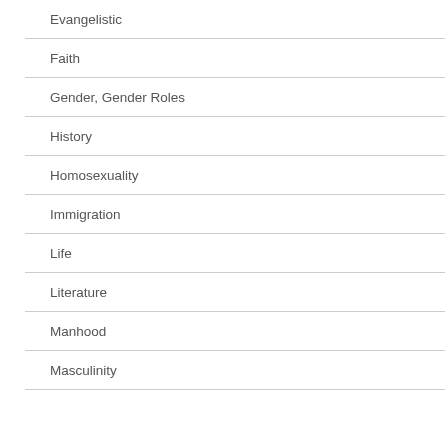Evangelistic
Faith
Gender, Gender Roles
History
Homosexuality
Immigration
Life
Literature
Manhood
Masculinity